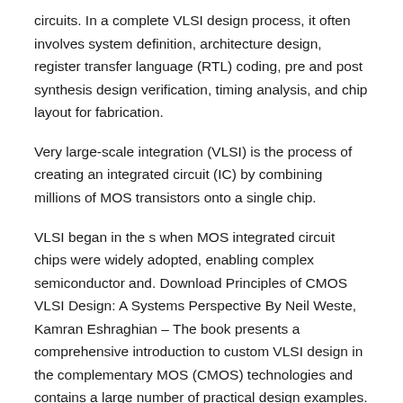circuits. In a complete VLSI design process, it often involves system definition, architecture design, register transfer language (RTL) coding, pre and post synthesis design verification, timing analysis, and chip layout for fabrication.
Very large-scale integration (VLSI) is the process of creating an integrated circuit (IC) by combining millions of MOS transistors onto a single chip.
VLSI began in the s when MOS integrated circuit chips were widely adopted, enabling complex semiconductor and. Download Principles of CMOS VLSI Design: A Systems Perspective By Neil Weste, Kamran Eshraghian – The book presents a comprehensive introduction to custom VLSI design in the complementary MOS (CMOS) technologies and contains a large number of practical design examples.
Topics discussed include CMOS circuits, MOS transistor theory, CMOS processing technology, circuit characterization. This is a superb state-of-the-art collection of contributed readings by nationally